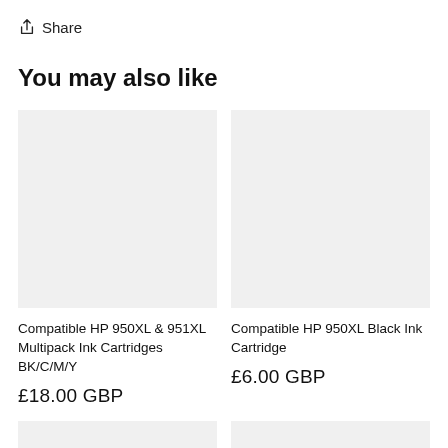Share
You may also like
[Figure (photo): Product image placeholder for Compatible HP 950XL & 951XL Multipack Ink Cartridges BK/C/M/Y]
Compatible HP 950XL & 951XL Multipack Ink Cartridges BK/C/M/Y
£18.00 GBP
[Figure (photo): Product image placeholder for Compatible HP 950XL Black Ink Cartridge]
Compatible HP 950XL Black Ink Cartridge
£6.00 GBP
[Figure (photo): Product image placeholder bottom left]
[Figure (photo): Product image placeholder bottom right]